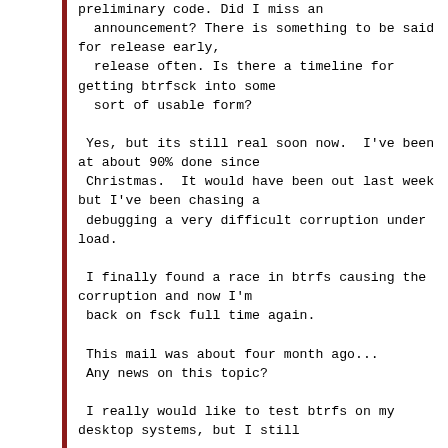preliminary code. Did I miss an
  announcement? There is something to be said
for release early,
  release often. Is there a timeline for
getting btrfsck into some
  sort of usable form?

 Yes, but its still real soon now.  I've been
at about 90% done since
 Christmas.  It would have been out last week
but I've been chasing a
 debugging a very difficult corruption under
load.

 I finally found a race in btrfs causing the
corruption and now I'm
 back on fsck full time again.

 This mail was about four month ago...
 Any news on this topic?

 I really would like to test btrfs on my
desktop systems, but I still